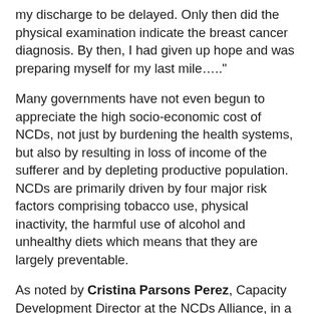my discharge to be delayed. Only then did the physical examination indicate the breast cancer diagnosis. By then, I had given up hope and was preparing myself for my last mile….."
Many governments have not even begun to appreciate the high socio-economic cost of NCDs, not just by burdening the health systems, but also by resulting in loss of income of the sufferer and by depleting productive population. NCDs are primarily driven by four major risk factors comprising tobacco use, physical inactivity, the harmful use of alcohol and unhealthy diets which means that they are largely preventable.
As noted by Cristina Parsons Perez, Capacity Development Director at the NCDs Alliance, in a webinar organised by CNS on 4th July 2017, the issues failing the NCDs management include weak political commitments, limited funding for NCDs, unprepared health systems and commercial conflicts.
There has been poor progress towards prioritising NCDs